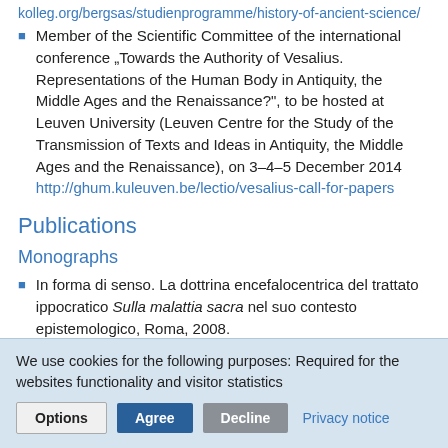kolleg.org/bergsas/studienprogramme/history-of-ancient-science/
Member of the Scientific Committee of the international conference „Towards the Authority of Vesalius. Representations of the Human Body in Antiquity, the Middle Ages and the Renaissance?", to be hosted at Leuven University (Leuven Centre for the Study of the Transmission of Texts and Ideas in Antiquity, the Middle Ages and the Renaissance), on 3–4–5 December 2014
http://ghum.kuleuven.be/lectio/vesalius-call-for-papers
Publications
Monographs
In forma di senso. La dottrina encefalocentrica del trattato ippocratico Sulla malattia sacra nel suo contesto epistemologico, Roma, 2008.
Volumes edited
We use cookies for the following purposes: Required for the websites functionality and visitor statistics
Options  Agree  Decline  Privacy notice